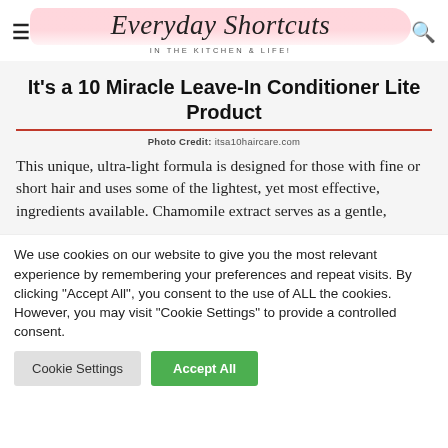Everyday Shortcuts — IN THE KITCHEN & LIFE!
It's a 10 Miracle Leave-In Conditioner Lite Product
Photo Credit: itsa10haircare.com
This unique, ultra-light formula is designed for those with fine or short hair and uses some of the lightest, yet most effective, ingredients available. Chamomile extract serves as a gentle,
We use cookies on our website to give you the most relevant experience by remembering your preferences and repeat visits. By clicking "Accept All", you consent to the use of ALL the cookies. However, you may visit "Cookie Settings" to provide a controlled consent.